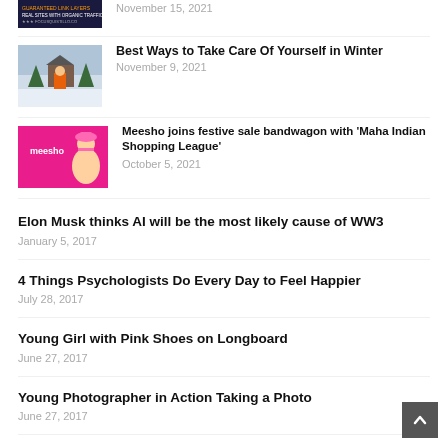[Figure (photo): Small thumbnail of a dark blue banner with text about organic traffic]
November 15, 2021
[Figure (photo): Person in orange jacket standing in snowy winter scene near a cabin]
Best Ways to Take Care Of Yourself in Winter
November 9, 2021
[Figure (logo): Meesho pink banner with mascot character]
Meesho joins festive sale bandwagon with 'Maha Indian Shopping League'
October 5, 2021
Elon Musk thinks AI will be the most likely cause of WW3
January 5, 2017
4 Things Psychologists Do Every Day to Feel Happier
July 28, 2017
Young Girl with Pink Shoes on Longboard
June 27, 2017
Young Photographer in Action Taking a Photo
June 27, 2017
Marketing Expert Writing New Strategy